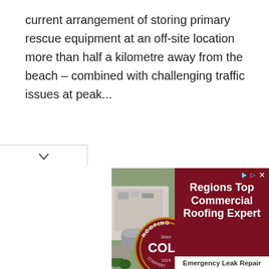current arrangement of storing primary rescue equipment at an off-site location more than half a kilometre away from the beach – combined with challenging traffic issues at peak...
[Figure (screenshot): Advertisement for Cole Roofing Company showing aerial photo of a building with a circular Cole Roofing Company logo and text: Regions Top Commercial Roofing Expert, Emergency Leak Repair]